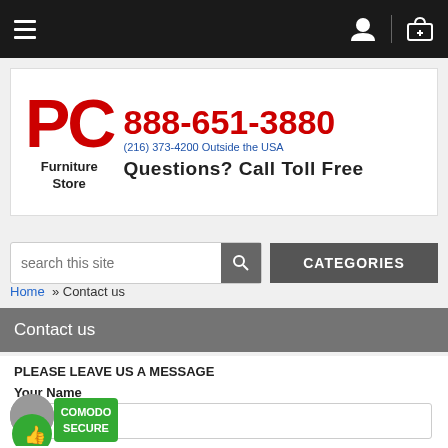PC Furniture Store — Navigation bar
[Figure (logo): PC Furniture Store logo with phone number 888-651-3880 and (216) 373-4200 Outside the USA, Questions? Call Toll Free]
search this site
CATEGORIES
Home » Contact us
Contact us
PLEASE LEAVE US A MESSAGE
Your Name
E-mail address
[Figure (logo): Comodo Secure badge with thumbs up icon]
Subject